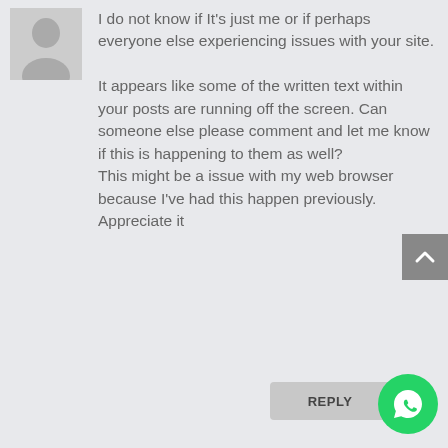[Figure (illustration): Gray silhouette avatar of a person (head and shoulders), used as a default user profile image]
I do not know if It's just me or if perhaps everyone else experiencing issues with your site.

It appears like some of the written text within your posts are running off the screen. Can someone else please comment and let me know if this is happening to them as well? This might be a issue with my web browser because I've had this happen previously. Appreciate it